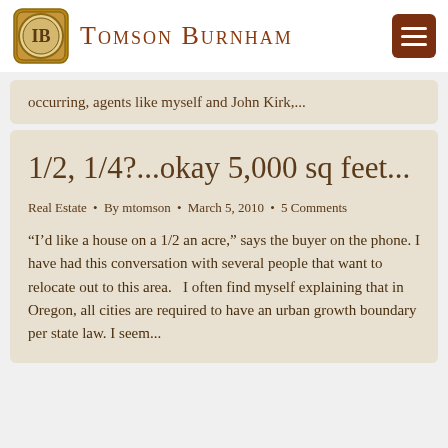Tomson Burnham
occurring, agents like myself and John Kirk,...
1/2, 1/4?...okay 5,000 sq feet...
Real Estate • By mtomson • March 5, 2010 • 5 Comments
“I’d like a house on a 1/2 an acre,” says the buyer on the phone. I have had this conversation with several people that want to relocate out to this area.   I often find myself explaining that in Oregon, all cities are required to have an urban growth boundary per state law. I seem...